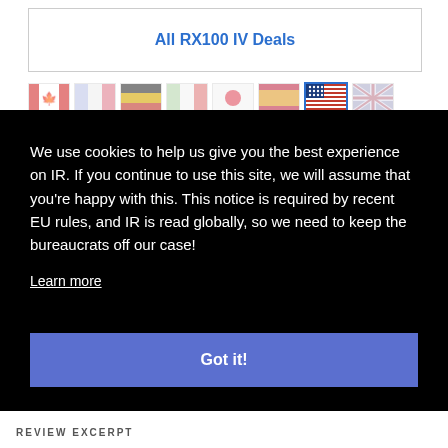All RX100 IV Deals
[Figure (illustration): Row of country flag icons: Canada, France, Germany, Italy, Japan, Spain, USA (highlighted/active), UK]
Advertisement
We use cookies to help us give you the best experience on IR. If you continue to use this site, we will assume that you're happy with this. This notice is required by recent EU rules, and IR is read globally, so we need to keep the bureaucrats off our case!
Learn more
Got it!
REVIEW EXCERPT